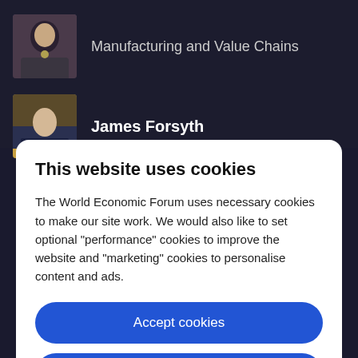Manufacturing and Value Chains
James Forsyth
This website uses cookies
The World Economic Forum uses necessary cookies to make our site work. We would also like to set optional "performance" cookies to improve the website and "marketing" cookies to personalise content and ads.
Accept cookies
Reject cookies
Cookie settings